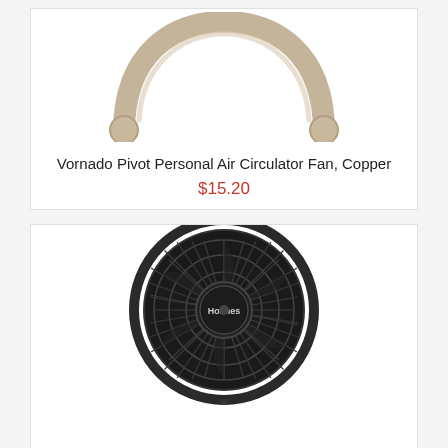[Figure (photo): Vornado Pivot Personal Air Circulator Fan in Copper color — shows the U-shaped/arc frame of the fan in a metallic copper/bronze tone against white background]
Vornado Pivot Personal Air Circulator Fan, Copper
$15.20
[Figure (photo): Holmes brand desk fan in black color, showing a circular fan with radial blades and protective grille, Holmes logo on center hub, with a thin stand visible at bottom]